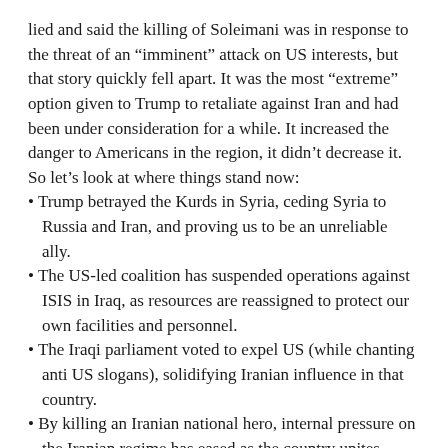lied and said the killing of Soleimani was in response to the threat of an “imminent” attack on US interests, but that story quickly fell apart. It was the most “extreme” option given to Trump to retaliate against Iran and had been under consideration for a while. It increased the danger to Americans in the region, it didn’t decrease it.
So let’s look at where things stand now:
Trump betrayed the Kurds in Syria, ceding Syria to Russia and Iran, and proving us to be an unreliable ally.
The US-led coalition has suspended operations against ISIS in Iraq, as resources are reassigned to protect our own facilities and personnel.
The Iraqi parliament voted to expel US (while chanting anti US slogans), solidifying Iranian influence in that country.
By killing an Iranian national hero, internal pressure on the Iranian regime has eased as the country unites against the Great Satan.
Iran has announced it will no longer abide by the enrichment restrictions of the JCPOA, further dividing us from our erstwhile allies. (It’s worth noting that Iran is not abandoning the inspections